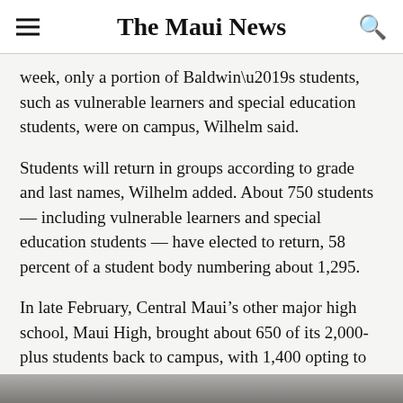The Maui News
week, only a portion of Baldwin’s students, such as vulnerable learners and special education students, were on campus, Wilhelm said.
Students will return in groups according to grade and last names, Wilhelm added. About 750 students — including vulnerable learners and special education students — have elected to return, 58 percent of a student body numbering about 1,295.
In late February, Central Maui’s other major high school, Maui High, brought about 650 of its 2,000-plus students back to campus, with 1,400 opting to learn at home, Principal Jamie Yap said last month.
[Figure (photo): Bottom edge of a photograph partially visible at the bottom of the page]